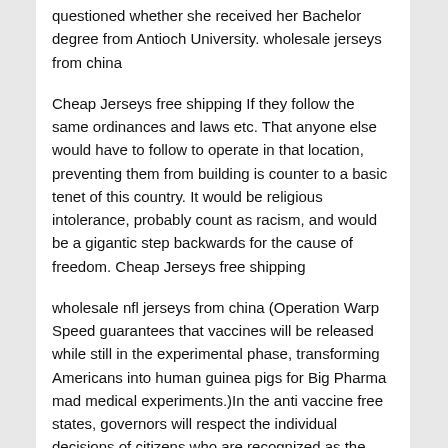questioned whether she received her Bachelor degree from Antioch University. wholesale jerseys from china
Cheap Jerseys free shipping If they follow the same ordinances and laws etc. That anyone else would have to follow to operate in that location, preventing them from building is counter to a basic tenet of this country. It would be religious intolerance, probably count as racism, and would be a gigantic step backwards for the cause of freedom. Cheap Jerseys free shipping
wholesale nfl jerseys from china (Operation Warp Speed guarantees that vaccines will be released while still in the experimental phase, transforming Americans into human guinea pigs for Big Pharma mad medical experiments.)In the anti vaccine free states, governors will respect the individual decisions of citizens who are recognized as the rightful owners of their own bodies. Anti vaccine free states will likely be states that lean more conservatives, while vaccine slave states will of course be the states run by Democrats and progressives.This means that citizens